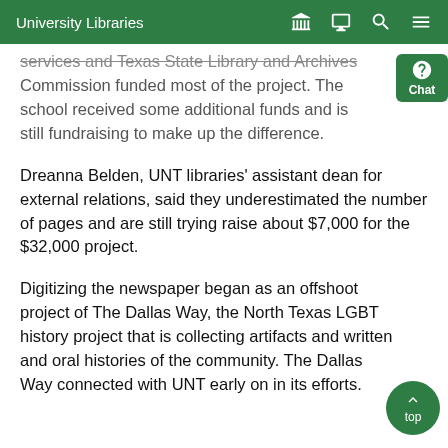University Libraries
services and Texas State Library and Archives Commission funded most of the project. The school received some additional funds and is still fundraising to make up the difference.
Dreanna Belden, UNT libraries’ assistant dean for external relations, said they underestimated the number of pages and are still trying raise about $7,000 for the $32,000 project.
Digitizing the newspaper began as an offshoot project of The Dallas Way, the North Texas LGBT history project that is collecting artifacts and written and oral histories of the community. The Dallas Way connected with UNT early on in its efforts.